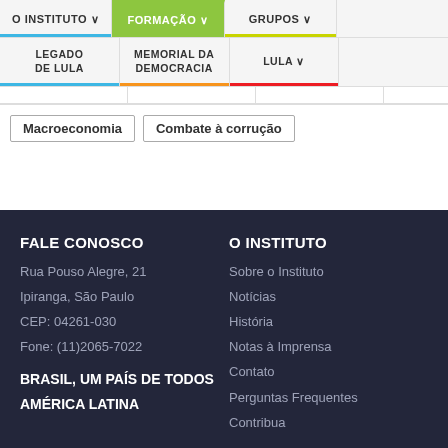O INSTITUTO | FORMAÇÃO | GRUPOS | LEGADO DE LULA | MEMORIAL DA DEMOCRACIA | LULA
Macroeconomia
Combate à corrução
FALE CONOSCO
Rua Pouso Alegre, 21
Ipiranga, São Paulo
CEP: 04261-030
Fone: (11)2065-7022
BRASIL, UM PAÍS DE TODOS
AMÉRICA LATINA
O INSTITUTO
Sobre o Instituto
Notícias
História
Notas à Imprensa
Contato
Perguntas Frequentes
Contribua